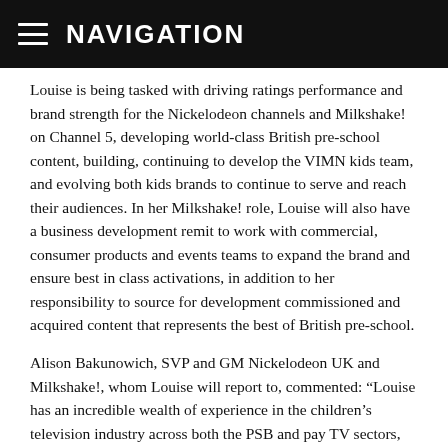≡ NAVIGATION
Louise is being tasked with driving ratings performance and brand strength for the Nickelodeon channels and Milkshake! on Channel 5, developing world-class British pre-school content, building, continuing to develop the VIMN kids team, and evolving both kids brands to continue to serve and reach their audiences. In her Milkshake! role, Louise will also have a business development remit to work with commercial, consumer products and events teams to expand the brand and ensure best in class activations, in addition to her responsibility to source for development commissioned and acquired content that represents the best of British pre-school.
Alison Bakunowich, SVP and GM Nickelodeon UK and Milkshake!, whom Louise will report to, commented: “Louise has an incredible wealth of experience in the children’s television industry across both the PSB and pay TV sectors, and her expertise in scheduling and channel planning will help us to further drive ratings improvement for both Nickelodeon and Milkshake!.”
Louise will also have a secondary reporting line into Ben Frow,